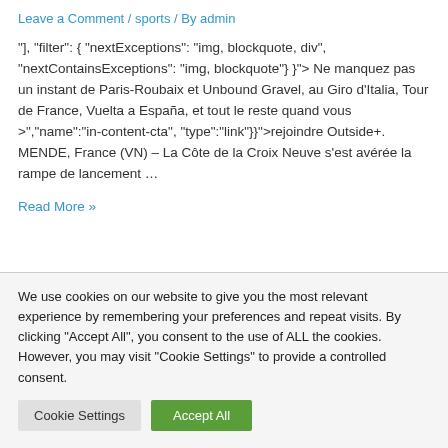Leave a Comment / sports / By admin
"], "filter": { "nextExceptions": "img, blockquote, div", "nextContainsExceptions": "img, blockquote"} }"> Ne manquez pas un instant de Paris-Roubaix et Unbound Gravel, au Giro d’Italia, Tour de France, Vuelta a España, et tout le reste quand vous >","name":"in-content-cta", "type":"link"}}">rejoindre Outside+. MENDE, France (VN) – La Côte de la Croix Neuve s’est avérée la rampe de lancement …
Read More »
We use cookies on our website to give you the most relevant experience by remembering your preferences and repeat visits. By clicking “Accept All”, you consent to the use of ALL the cookies. However, you may visit "Cookie Settings" to provide a controlled consent.